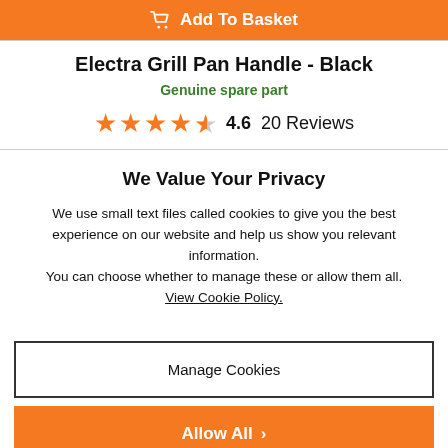[Figure (other): Orange 'Add To Basket' button with cart icon]
Electra Grill Pan Handle - Black
Genuine spare part
4.6  20 Reviews
We Value Your Privacy
We use small text files called cookies to give you the best experience on our website and help us show you relevant information. You can choose whether to manage these or allow them all. View Cookie Policy.
[Figure (other): Manage Cookies button (outlined)]
[Figure (other): Allow All button (orange) with chevron]